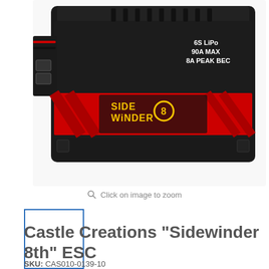[Figure (photo): Product photo of Castle Creations Sidewinder 8th ESC - a black electronic speed controller with red/yellow branding showing '6S LiPo 90A MAX 8A PEAK BEC' text on the side label]
Click on image to zoom
[Figure (photo): Small thumbnail image of the same Castle Creations Sidewinder 8th ESC product, shown in a blue-bordered selection box]
Castle Creations "Sidewinder 8th" ESC
SKU: CAS010-0139-10